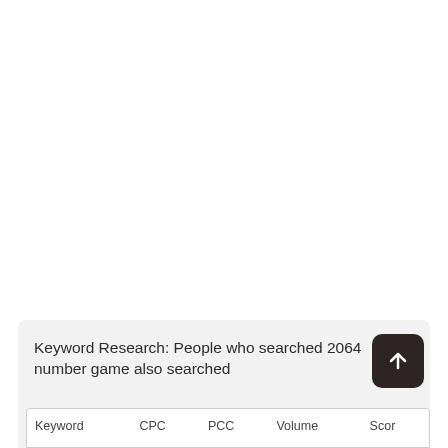Keyword Research: People who searched 2064 number game also searched
| Keyword | CPC | PCC | Volume | Score |
| --- | --- | --- | --- | --- |